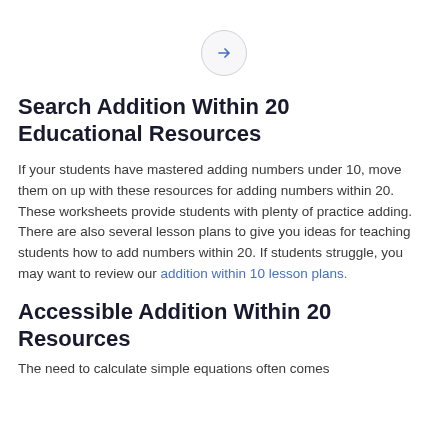[Figure (other): A circular button with a right-pointing arrow icon (→), light gray background and border.]
Search Addition Within 20 Educational Resources
If your students have mastered adding numbers under 10, move them on up with these resources for adding numbers within 20. These worksheets provide students with plenty of practice adding. There are also several lesson plans to give you ideas for teaching students how to add numbers within 20. If students struggle, you may want to review our addition within 10 lesson plans.
Accessible Addition Within 20 Resources
The need to calculate simple equations often comes